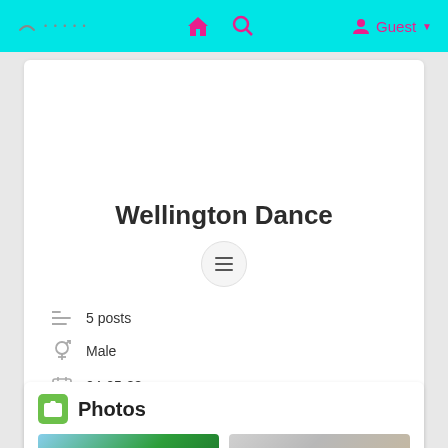Guest
Wellington Dance
5 posts
Male
04-05-88
Living in New Zealand
Photos
[Figure (photo): Two thumbnail photos in the Photos section]